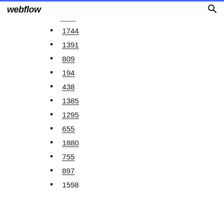webflow
1744
1391
809
194
438
1385
1295
655
1880
755
897
1598